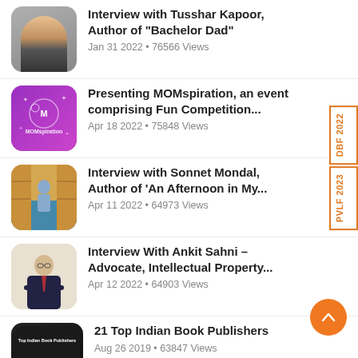Interview with Tusshar Kapoor, Author of "Bachelor Dad" — Jan 31 2022 • 76566 Views
Presenting MOMspiration, an event comprising Fun Competition... — Apr 18 2022 • 75848 Views
Interview with Sonnet Mondal, Author of 'An Afternoon in My... — Apr 11 2022 • 64973 Views
Interview With Ankit Sahni - Advocate, Intellectual Property... — Apr 12 2022 • 64903 Views
21 Top Indian Book Publishers — Aug 26 2019 • 63847 Views